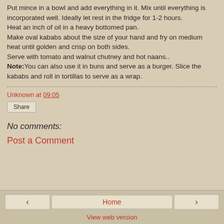Put mince in a bowl and add everything in it. Mix until everything is incorporated well. Ideally let rest in the fridge for 1-2 hours. Heat an inch of oil in a heavy bottomed pan. Make oval kababs about the size of your hand and fry on medium heat until golden and crisp on both sides. Serve with tomato and walnut chutney and hot naans.. Note: You can also use it in buns and serve as a burger. Slice the kababs and roll in tortillas to serve as a wrap.
Unknown at 09:05
Share
No comments:
Post a Comment
Home  View web version